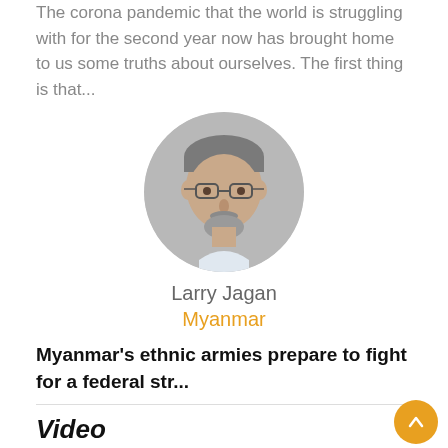The corona pandemic that the world is struggling with for the second year now has brought home to us some truths about ourselves. The first thing is that...
[Figure (photo): Circular portrait photo of Larry Jagan, a middle-aged man with gray hair and beard, wearing glasses]
Larry Jagan
Myanmar
Myanmar's ethnic armies prepare to fight for a federal str...
Video
[Figure (screenshot): TRT World video thumbnail showing a crowd of people]